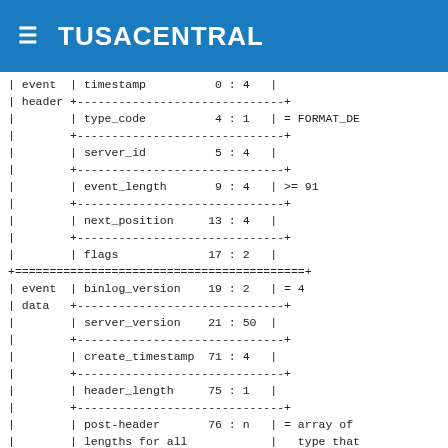≡  TUSACENTRAL
| event  | timestamp          0 : 4   |
| header +------------------------------+
|        | type_code          4 : 1   | = FORMAT_DE
|        +------------------------------+
|        | server_id          5 : 4   |
|        +------------------------------+
|        | event_length       9 : 4   | >= 91
|        +------------------------------+
|        | next_position     13 : 4   |
|        +------------------------------+
|        | flags             17 : 2   |
+==========================================+
| event  | binlog_version    19 : 2   | = 4
| data   +------------------------------+
|        | server_version    21 : 50  |
|        +------------------------------+
|        | create_timestamp  71 : 4   |
|        +------------------------------+
|        | header_length     75 : 1   |
|        +------------------------------+
|        | post-header       76 : n   | = array of
|        | lengths for all            |   type that